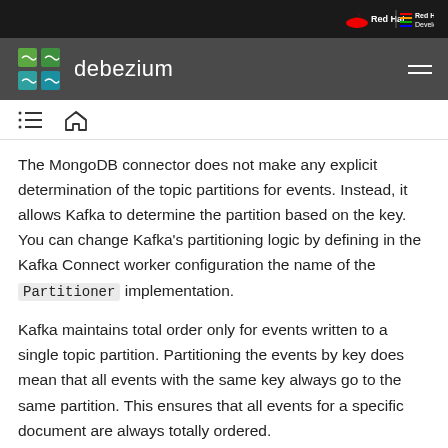Red Hat | Red Hat Developer
debezium
The MongoDB connector does not make any explicit determination of the topic partitions for events. Instead, it allows Kafka to determine the partition based on the key. You can change Kafka's partitioning logic by defining in the Kafka Connect worker configuration the name of the Partitioner implementation.
Kafka maintains total order only for events written to a single topic partition. Partitioning the events by key does mean that all events with the same key always go to the same partition. This ensures that all events for a specific document are always totally ordered.